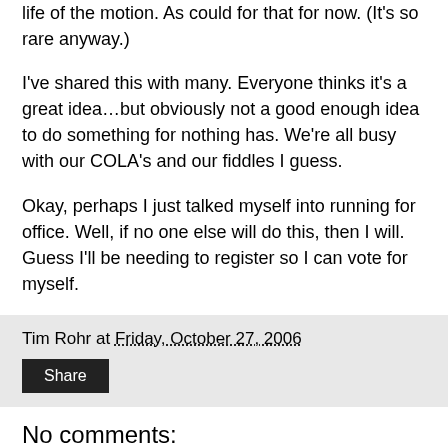life of the motion. As could for that for now. (It's so rare anyway.)
I've shared this with many. Everyone thinks it's a great idea…but obviously not a good enough idea to do something for nothing has. We're all busy with our COLA's and our fiddles I guess.
Okay, perhaps I just talked myself into running for office. Well, if no one else will do this, then I will. Guess I'll be needing to register so I can vote for myself.
Tim Rohr at Friday, October 27, 2006
Share
No comments:
Post a Comment